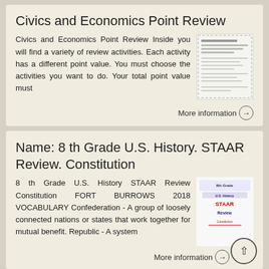Civics and Economics Point Review
Civics and Economics Point Review Inside you will find a variety of review activities. Each activity has a different point value. You must choose the activities you want to do. Your total point value must
[Figure (screenshot): Thumbnail image of a worksheet document with lines of text and a dashed border]
More information →
Name: 8 th Grade U.S. History. STAAR Review. Constitution
8 th Grade U.S. History STAAR Review Constitution FORT BURROWS 2018 VOCABULARY Confederation - A group of loosely connected nations or states that work together for mutual benefit. Republic - A system
[Figure (screenshot): Thumbnail image showing '8th Grade U.S. History STAAR Review Constitution' cover page with colored text]
More information →